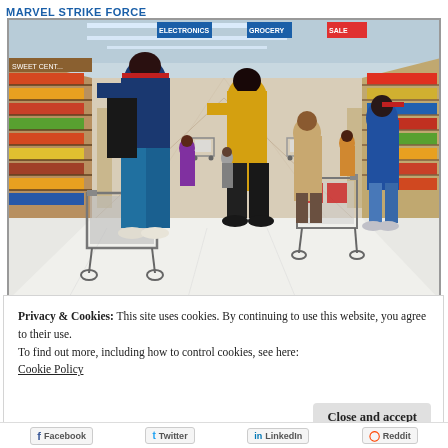Marvel Strike Force
[Figure (photo): Interior of a busy Walmart or similar big-box retail store aisle, showing shoppers with shopping carts from a perspective looking down the aisle. Several people visible including women in colorful winter coats (blue, yellow) and hats, with store shelves lined with products on both sides and blue department signs overhead.]
Privacy & Cookies: This site uses cookies. By continuing to use this website, you agree to their use.
To find out more, including how to control cookies, see here:
Cookie Policy
Close and accept
Facebook   Twitter   LinkedIn   Reddit